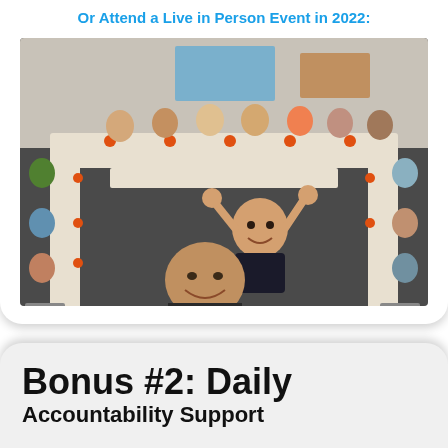Or Attend a Live in Person Event in 2022:
[Figure (photo): Group photo of approximately 20 people seated around a large U-shaped conference table in a meeting room. Two people in the foreground are taking a selfie — a man in front with an excited expression and a woman behind him with her hands raised waving. People are seated along both sides of the table with orange centerpieces.]
Bonus #2: Daily